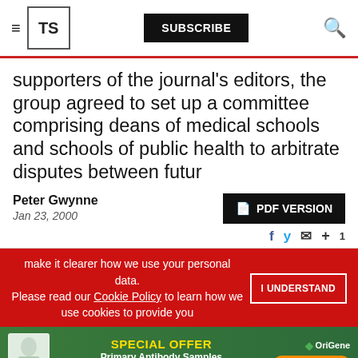TS — SUBSCRIBE
supporters of the journal's editors, the group agreed to set up a committee comprising deans of medical schools and schools of public health to arbitrate disputes between futur
Peter Gwynne
Jan 23, 2000
PDF VERSION
make it clearer how we use your personal data.
Please read our Cookie Policy to learn how we use cookies to provide you
I UNDERSTAND
[Figure (infographic): Advertisement banner: SPECIAL OFFER — Primary Antibody Samples 30 ul for $99/€99 — OriGene logo — LEARN MORE button]
ADVERTISEMENT